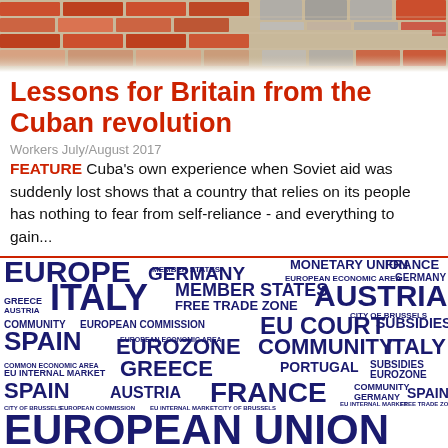[Figure (photo): Aerial or close-up photo of patterned brick/tile paving in various colors including red, orange, grey and beige arranged in geometric patterns]
Lessons for Britain from the Cuban revolution
Workers July/August 2017
FEATURE Cuba's own experience when Soviet aid was suddenly lost shows that a country that relies on its people has nothing to fear from self-reliance - and everything to gain...
[Figure (infographic): Word cloud image with European Union related terms in dark navy blue on white background: EUROPE, GERMANY, MONETARY UNION, FRANCE, EUROPEAN ECONOMIC AREA, GERMANY, ITALY, MEMBER STATES, AUSTRIA, GREECE, AUSTRIA, FREE TRADE ZONE, CITY OF BRUSSELS, COMMUNITY, EUROPEAN COMMISSION, EU COURT, SUBSIDIES, SPAIN, EUROPEAN ECONOMIC AREA, EUROZONE, COMMUNITY, ITALY, COMMON ECONOMIC AREA, GREECE, PORTUGAL, SUBSIDIES EUROZONE, EU INTERNAL MARKET, SPAIN, AUSTRIA, FRANCE, COMMUNITY, GERMANY, SPAIN, CITY OF BRUSSELS, EUROPEAN COMMISSION, EU INTERNAL MARKET, CITY OF BRUSSELS, EU INTERNAL MARKET, FREE TRADE ZONE, EUROPEAN UNION, MEMBER STATES]